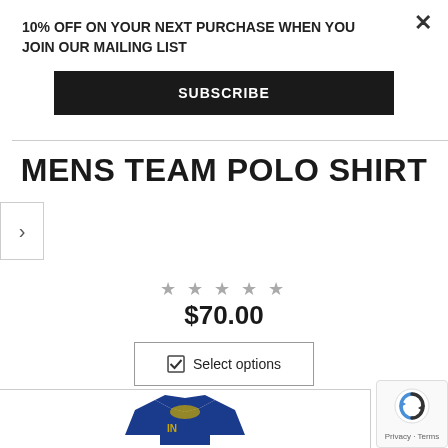10% OFF ON YOUR NEXT PURCHASE WHEN YOU JOIN OUR MAILING LIST
SUBSCRIBE
MENS TEAM POLO SHIRT
★★★★★
$70.00
Select options
[Figure (screenshot): Polo shirt product image preview at bottom of page showing a dark blue polo shirt]
Privacy · Terms